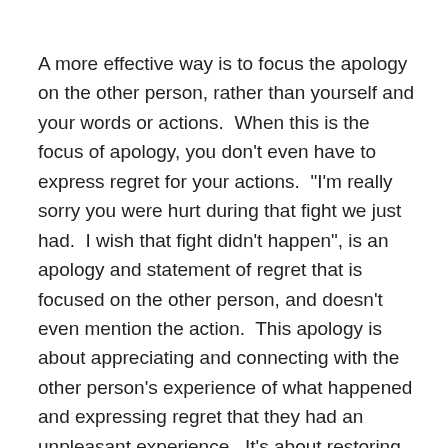A more effective way is to focus the apology on the other person, rather than yourself and your words or actions.  When this is the focus of apology, you don't even have to express regret for your actions.  "I'm really sorry you were hurt during that fight we just had.  I wish that fight didn't happen", is an apology and statement of regret that is focused on the other person, and doesn't even mention the action.  This apology is about appreciating and connecting with the other person's experience of what happened and expressing regret that they had an unpleasant experience.  It's about restoring them, not you.
This doesn't give you a “get out of jail free” card.  While the focus of the apology might be on them, not you , it is helpful to take responsibility for your action.  Taking